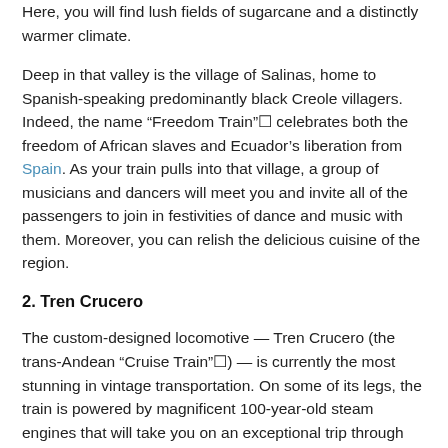Here, you will find lush fields of sugarcane and a distinctly warmer climate.
Deep in that valley is the village of Salinas, home to Spanish-speaking predominantly black Creole villagers. Indeed, the name “Freedom Train”☐ celebrates both the freedom of African slaves and Ecuador’s liberation from Spain. As your train pulls into that village, a group of musicians and dancers will meet you and invite all of the passengers to join in festivities of dance and music with them. Moreover, you can relish the delicious cuisine of the region.
2. Tren Crucero
The custom-designed locomotive — Tren Crucero (the trans-Andean “Cruise Train”☐) — is currently the most stunning in vintage transportation. On some of its legs, the train is powered by magnificent 100-year-old steam engines that will take you on an exceptional trip through different locales and ages of Ecuador’s past and present. The train features four different coaches, each one with its own thematic style (with Pre-Hispanic, Baroque, Neo-classical and Ecuadorian Pacific coast style decors) that reflect Ecuador’s history and culture